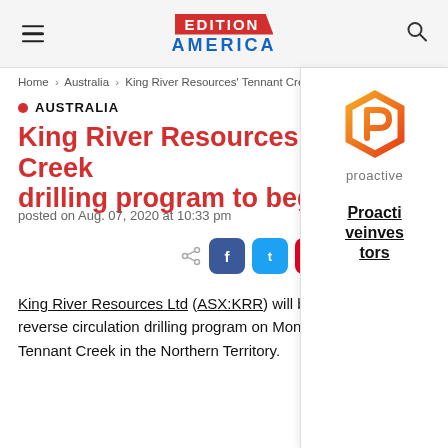Edition America
Home > Australia > King River Resources' Tennant Creek drilling program...
• AUSTRALIA
King River Resources' Tennant Creek drilling program to begin Monday
posted on Aug. 07, 2020 at 10:33 pm
[Figure (other): Social share buttons: share icon, Facebook, Twitter, Pinterest, LinkedIn]
King River Resources Ltd (ASX:KRR) will begin a reverse circulation drilling program on Monday, at Tennant Creek in the Northern Territory.
[Figure (logo): Proactive Investors logo with hexagon icon in orange/red gradient, and text 'proactive' below it, and link 'Proactiveinvestors']